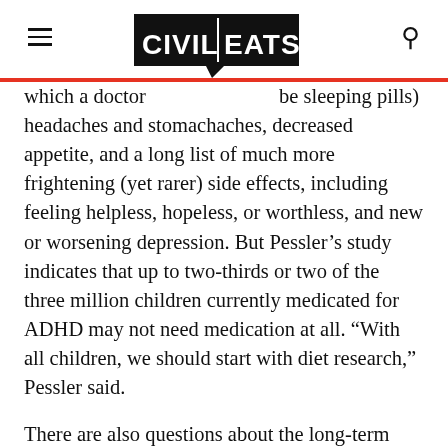Civil Eats
which a doctor (be sleeping pills) headaches and stomachaches, decreased appetite, and a long list of much more frightening (yet rarer) side effects, including feeling helpless, hopeless, or worthless, and new or worsening depression. But Pessler’s study indicates that up to two-thirds or two of the three million children currently medicated for ADHD may not need medication at all. “With all children, we should start with diet research,” Pessler said.
There are also questions about the long-term effects of stimulant drugs and growth in children. After three years on Ritalin, children were about an inch shorter and 4.4 pounds lighter than their